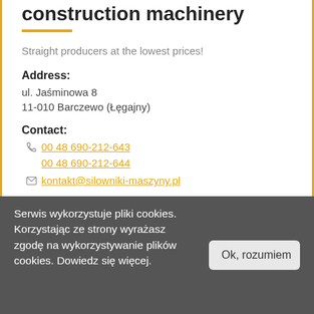construction machinery
Straight producers at the lowest prices!
Address:
ul. Jaśminowa 8
11-010 Barczewo (Łęgajny)
Contact:
00 48 690-212-643
00 48 690-212-644
kontakt@silowniki-maszyny.pl
Serwis wykorzystuje pliki cookies. Korzystając ze strony wyrażasz zgodę na wykorzystywanie plików cookies. Dowiedz się więcej.